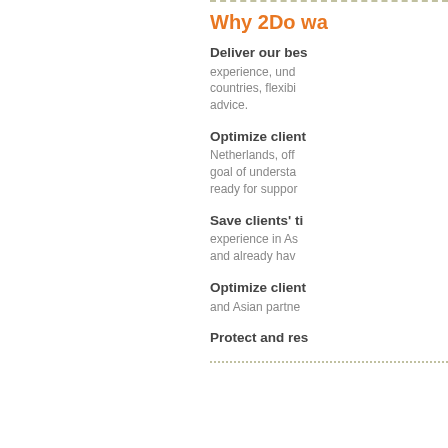Why 2Do wa
Deliver our bes experience, und countries, flexibi advice.
Optimize client Netherlands, off goal of understa ready for suppo
Save clients' ti experience in As and already hav
Optimize client and Asian partne
Protect and res